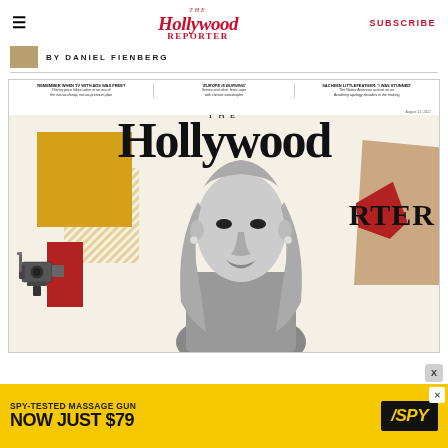The Hollywood Reporter | SUBSCRIBE
BY DANIEL FIENBERG
[Figure (illustration): The Hollywood Reporter magazine cover featuring a woman with long blonde wavy hair in black and white, with colorful graphic design elements including gold, red, and tan shapes. Cover lines include: 'REMEMBER WHEN TV WITH ADS WAS FREE? Disney price hikes usher in an era of the not-so-cheap, not-so-premium plan', 'EUROPE IS BURNING: Venice and other fests cope with climate catastrophe', 'SACHEEN LITTLEFEATHER: I WAS STUNNED - The Native American activist on an Academy apology decades in the making'. Dated August 11, 2022.]
[Figure (advertisement): SPY-TESTED MASSAGE GUN NOW JUST $79 ad banner with yellow background and SPY logo in black and yellow.]